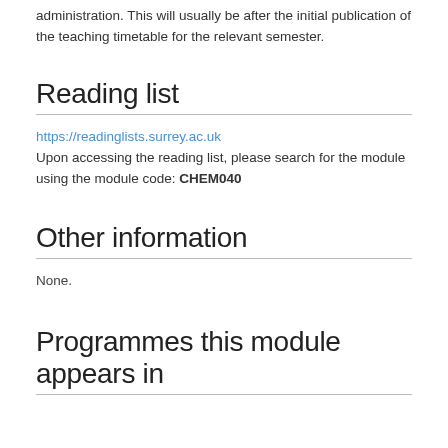administration. This will usually be after the initial publication of the teaching timetable for the relevant semester.
Reading list
https://readinglists.surrey.ac.uk
Upon accessing the reading list, please search for the module using the module code: CHEM040
Other information
None.
Programmes this module appears in